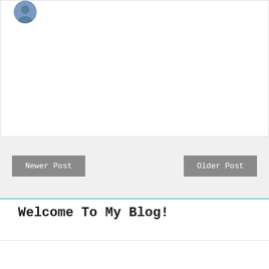[Figure (photo): Circular avatar image at top left of a blog comment or post card]
[Figure (other): White card area (empty content region)]
Newer Post
Older Post
Welcome To My Blog!
[Figure (photo): Circular photo at bottom card]
A mom of four who